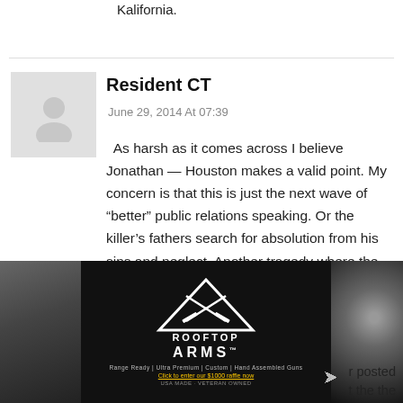Kalifornia.
Resident CT
June 29, 2014 At 07:39
As harsh as it comes across I believe Jonathan — Houston makes a valid point. My concern is that this is just the next wave of “better” public relations speaking. Or the killer’s fathers search for absolution from his sins and neglect. Another tragedy where the root cause problems of crime, murder and dangerous mental illness neglected yet again, or worse, “remedies” enacted that have large liberty and financial cost and little, none or minus benefit
[Figure (photo): Rooftop Arms advertisement banner showing guns with triangular logo and text: ROOFTOP ARMS, Range Ready | Ultra Premium | Custom | Hand Assembled Guns. Click to enter our $1000 raffle now. USA MADE - VETERAN OWNED]
er posted
t the the